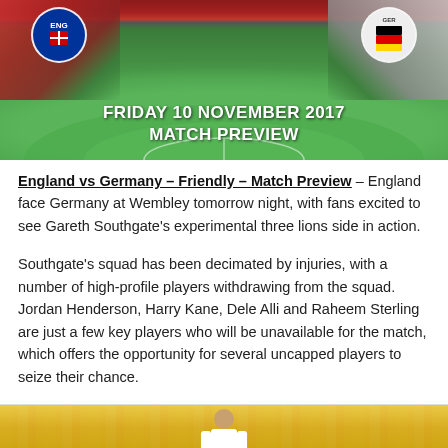[Figure (photo): Stadium hero image with England vs Germany match header showing Wembley stadium pitch, crowd, and team badges with text overlay]
England vs Germany – Friendly – Match Preview – England face Germany at Wembley tomorrow night, with fans excited to see Gareth Southgate's experimental three lions side in action.
Southgate's squad has been decimated by injuries, with a number of high-profile players withdrawing from the squad. Jordan Henderson, Harry Kane, Dele Alli and Raheem Sterling are just a few key players who will be unavailable for the match, which offers the opportunity for several uncapped players to seize their chance.
[Figure (photo): England player in white jersey on football pitch with yellow-jersey crowd in background]